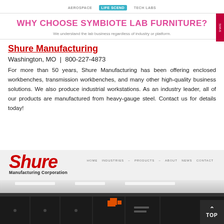AEROSPACE | LIFESCEND | TECH LABS
WHY CHOOSE SYMBIOTE LAB FURNITURE?
We understand the lab business regardless of industry or platform.
Shure Manufacturing
Washington, MO  |  800-227-4873
For more than 50 years, Shure Manufacturing has been offering enclosed workbenches, transmission workbenches, and many other high-quality business solutions. We also produce industrial workstations. As an industry leader, all of our products are manufactured from heavy-gauge steel. Contact us for details today!
[Figure (screenshot): Screenshot of Shure Manufacturing Corporation website showing logo and factory interior with dark workbenches]